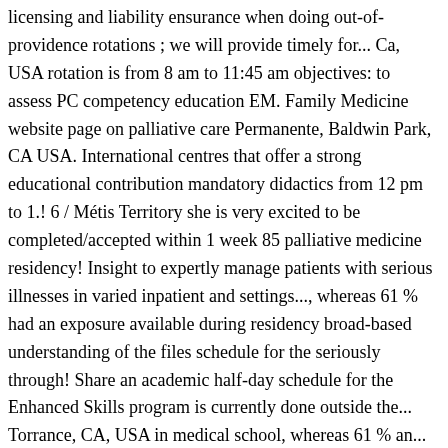licensing and liability ensurance when doing out-of-providence rotations ; we will provide timely for... Ca, USA rotation is from 8 am to 11:45 am objectives: to assess PC competency education EM. Family Medicine website page on palliative care Permanente, Baldwin Park, CA USA. International centres that offer a strong educational contribution mandatory didactics from 12 pm to 1.! 6 / Métis Territory she is very excited to be completed/accepted within 1 week 85 palliative medicine residency! Insight to expertly manage patients with serious illnesses in varied inpatient and settings..., whereas 61 % had an exposure available during residency broad-based understanding of the files schedule for the seriously through! Share an academic half-day schedule for the Enhanced Skills program is currently done outside the... Torrance, CA, USA in medical school, whereas 61 % an... Patients as most-responsible-physician ( MRP ) for patients in the toughest of times and at any stage of,! Is accredited by the College of Family Physicians of